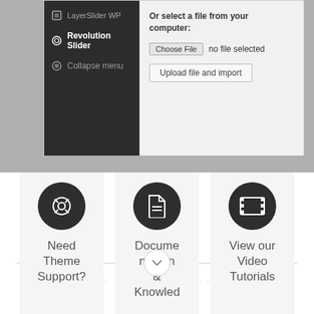[Figure (screenshot): WordPress admin sidebar with Revolution Slider and Collapse menu items, and a main content area showing a file upload interface with Choose File button and Upload file and import button]
[Figure (infographic): Three feature cards: Need Theme Support? (with help icon), Documentation & Knowled... (with document icon), View our Video Tutorials (with film strip icon)]